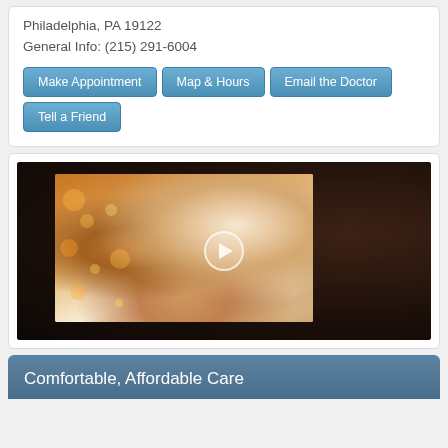Philadelphia, PA 19122
General Info: (215) 291-6004
Make Appointment
Map & Hours
Email the Doctor
Tell a Friend
[Figure (photo): Video thumbnail showing a smiling blonde woman with bokeh background and a play button overlay]
Comfortable, Affordable Care